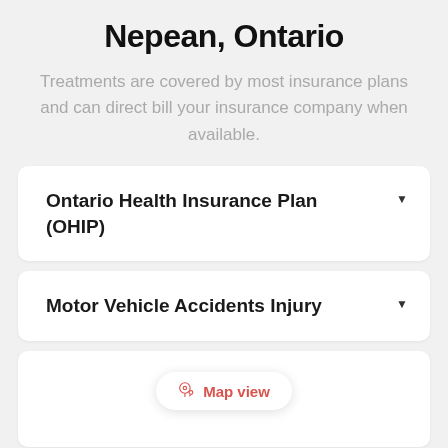Nepean, Ontario
Treatments are covered by most insurance plans and can direct bill your insurance company when available.
Ontario Health Insurance Plan (OHIP)
Motor Vehicle Accidents Injury
Map view